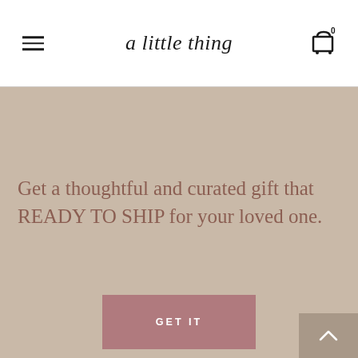a little thing
Get a thoughtful and curated gift that READY TO SHIP for your loved one.
GET IT